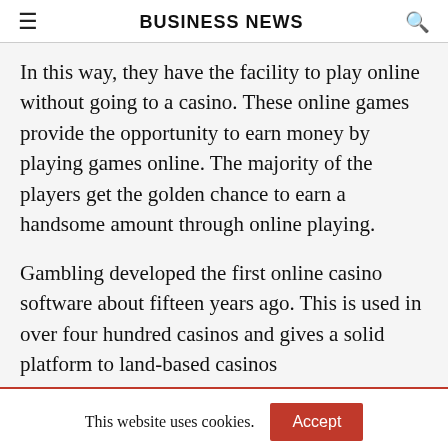BUSINESS NEWS
In this way, they have the facility to play online without going to a casino. These online games provide the opportunity to earn money by playing games online. The majority of the players get the golden chance to earn a handsome amount through online playing.
Gambling developed the first online casino software about fifteen years ago. This is used in over four hundred casinos and gives a solid platform to land-based casinos
This website uses cookies.
[Figure (infographic): Social sharing buttons: Twitter (blue), Email (black), Pinterest (red), LinkedIn (blue), WhatsApp (green), LINE (green)]